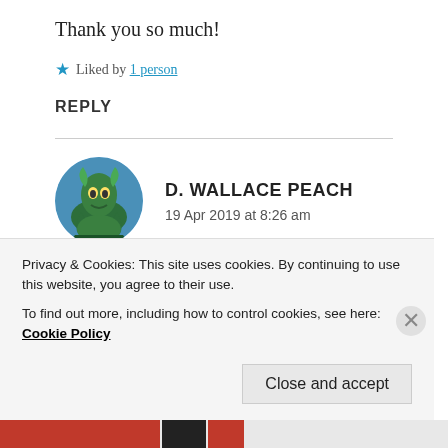Thank you so much!
★ Liked by 1 person
REPLY
[Figure (illustration): Circular avatar image showing a green dragon in a fantasy forest scene, used as the commenter profile picture for D. Wallace Peach]
D. WALLACE PEACH
19 Apr 2019 at 8:26 am
I especially like the first bullet. I honestly believe its the key to a fun and successful blog. 🙂 You're doing
Privacy & Cookies: This site uses cookies. By continuing to use this website, you agree to their use.
To find out more, including how to control cookies, see here: Cookie Policy
Close and accept